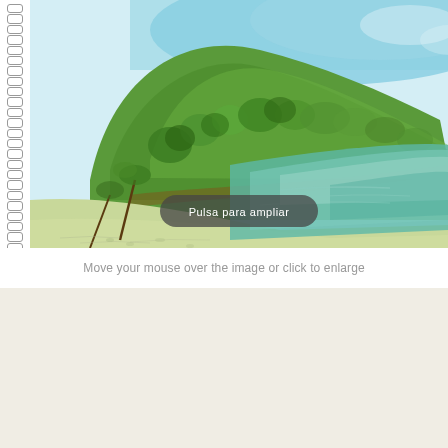[Figure (illustration): Watercolor illustration of a tropical island/beach scene viewed from a spiral-bound sketchbook. The image shows a green hillside with dense tropical vegetation, a sandy beach, and turquoise/teal ocean water under a blue sky. A 'Pulsa para ampliar' (Click to enlarge) button overlay is shown on the image.]
Move your mouse over the image or click to enlarge